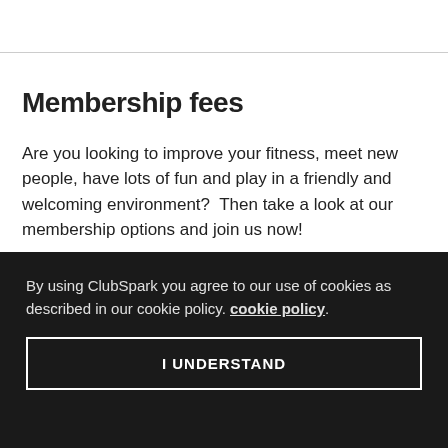Membership fees
Are you looking to improve your fitness, meet new people, have lots of fun and play in a friendly and welcoming environment?  Then take a look at our membership options and join us now!
We welcome junior and adult players of any standard and any age to join our lively & friendly club.  Annual Membership runs from 1st April 2019 – 31st March...
By using ClubSpark you agree to our use of cookies as described in our cookie policy. cookie policy.
I UNDERSTAND